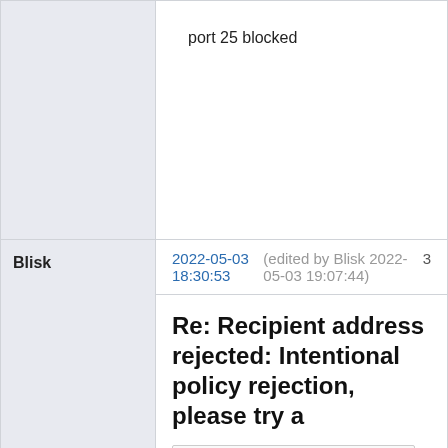port 25 blocked
Blisk
2022-05-03 18:30:53 (edited by Blisk 2022-05-03 19:07:44)  3
Re: Recipient address rejected: Intentional policy rejection, please try a
Cthulhu wrote:
port 25 blocked